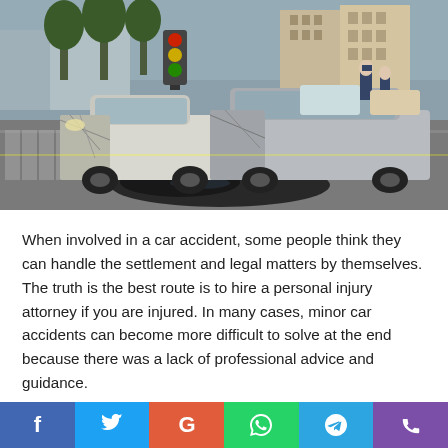[Figure (photo): A car accident scene at an urban intersection. Two cars have collided head-on, with significant front-end damage. There is a large dark oil/fluid spill on the road. Police officers and bystanders are visible in the background. City buildings, trees, and traffic are visible in the background.]
When involved in a car accident, some people think they can handle the settlement and legal matters by themselves. The truth is the best route is to hire a personal injury attorney if you are injured. In many cases, minor car accidents can become more difficult to solve at the end because there was a lack of professional advice and guidance.